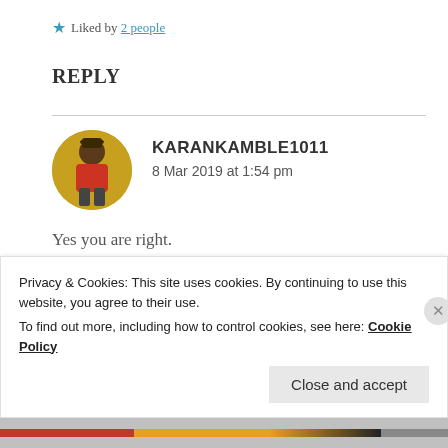★ Liked by 2 people
REPLY
[Figure (photo): Round avatar photo of user karankamble1011 showing a person in a red jacket against a yellow background]
KARANKAMBLE1011
8 Mar 2019 at 1:54 pm
Yes you are right.
★ Liked by 1 person
Privacy & Cookies: This site uses cookies. By continuing to use this website, you agree to their use.
To find out more, including how to control cookies, see here: Cookie Policy
Close and accept